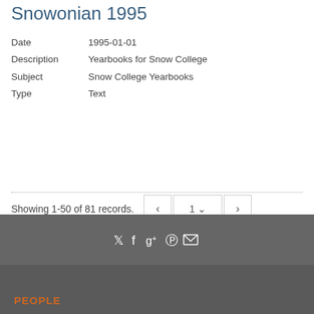Snowonian 1995
Date 1995-01-01
Description Yearbooks for Snow College
Subject Snow College Yearbooks
Type Text
Showing 1-50 of 81 records.
PEOPLE